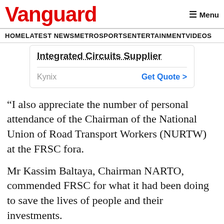Vanguard
[Figure (screenshot): Advertisement box for Kynix Integrated Circuits Supplier with Get Quote link]
“I also appreciate the number of personal attendance of the Chairman of the National Union of Road Transport Workers (NURTW) at the FRSC fora.
Mr Kassim Baltaya, Chairman NARTO, commended FRSC for what it had been doing to save the lives of people and their investments.